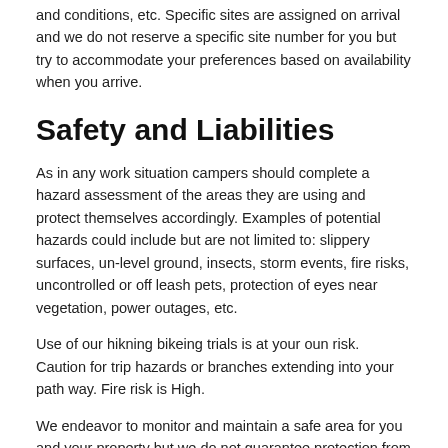and conditions, etc. Specific sites are assigned on arrival and we do not reserve a specific site number for you but try to accommodate your preferences based on availability when you arrive.
Safety and Liabilities
As in any work situation campers should complete a hazard assessment of the areas they are using and protect themselves accordingly. Examples of potential hazards could include but are not limited to: slippery surfaces, un-level ground, insects, storm events, fire risks, uncontrolled or off leash pets, protection of eyes near vegetation, power outages, etc.
Use of our hikning bikeing trials is at your oun risk. Caution for trip hazards or branches extending into your path way. Fire risk is High.
We endeavor to monitor and maintain a safe area for you and your property but we do not guarantee protection from vandals or criminals.